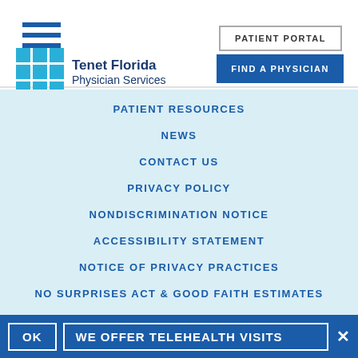[Figure (logo): Hamburger menu icon with three horizontal blue lines]
PATIENT PORTAL
[Figure (logo): Tenet Florida Physician Services logo with blue grid squares and dark blue text]
FIND A PHYSICIAN
PATIENT RESOURCES
NEWS
CONTACT US
PRIVACY POLICY
NONDISCRIMINATION NOTICE
ACCESSIBILITY STATEMENT
NOTICE OF PRIVACY PRACTICES
NO SURPRISES ACT & GOOD FAITH ESTIMATES
OK  WE OFFER TELEHEALTH VISITS